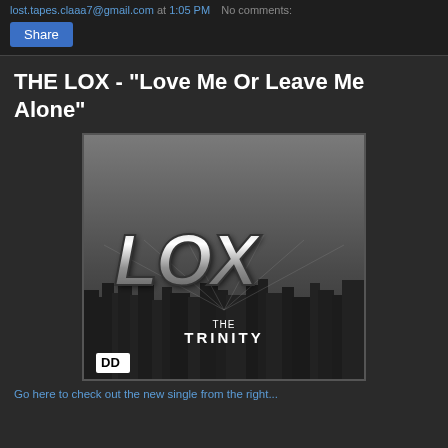lost.tapes.claaa7@gmail.com at 1:05 PM   No comments:
THE LOX - "Love Me Or Leave Me Alone"
[Figure (photo): Album cover art for The Lox - The Trinity. Gray-toned image showing large metallic 'LOX' lettering above a cityscape in the background. White text reads 'THE TRINITY' and a small Def Jam/D-Block logo appears in the lower left corner.]
Go here to check out the new single from the right...